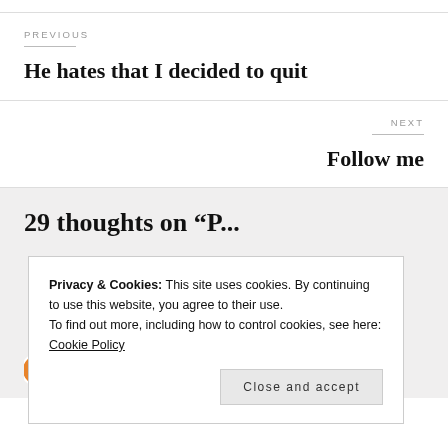PREVIOUS
He hates that I decided to quit
NEXT
Follow me
29 thoughts on “P...
Privacy & Cookies: This site uses cookies. By continuing to use this website, you agree to their use.
To find out more, including how to control cookies, see here: Cookie Policy
Close and accept
anisnest